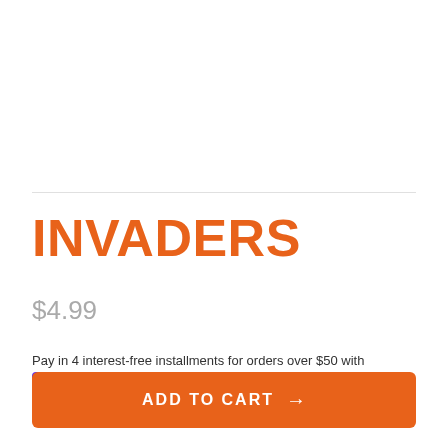INVADERS
$4.99
Pay in 4 interest-free installments for orders over $50 with shop Pay Learn more
ADD TO CART →